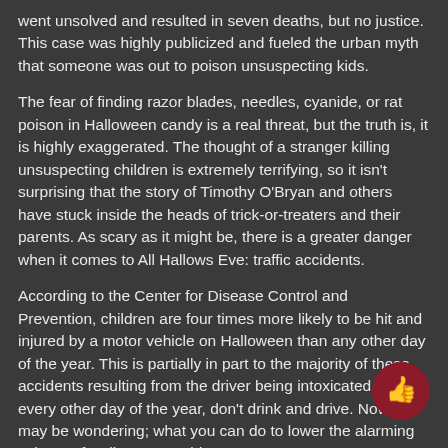went unsolved and resulted in seven deaths, but no justice. This case was highly publicized and fueled the urban myth that someone was out to poison unsuspecting kids.
The fear of finding razor blades, needles, cyanide, or rat poison in Halloween candy is a real threat, but the truth is, it is highly exaggerated. The thought of a stranger killing unsuspecting children is extremely terrifying, so it isn't surprising that the story of Timothy O'Bryan and others have stuck inside the heads of trick-or-treaters and their parents. As scary as it might be, there is a greater danger when it comes to All Hallows Eve: traffic accidents.
According to the Center for Disease Control and Prevention, children are four times more likely to be hit and injured by a motor vehicle on Halloween than any other day of the year. This is partially in part to the majority of these accidents resulting from the driver being intoxicated. Like every other day of the year, don't drink and drive. Now you may be wondering; what you can do to lower the alarming volume of Halloween accidents?
Another widespread source of Halloween accidents and injuries is